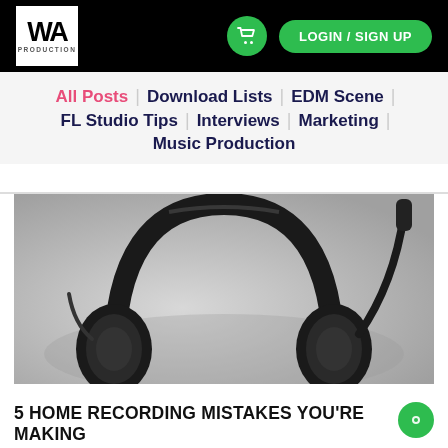WA Production — LOGIN / SIGN UP
All Posts | Download Lists | EDM Scene | FL Studio Tips | Interviews | Marketing | Music Production
[Figure (photo): Black and white close-up photograph of studio headphones held up against a light background]
5 HOME RECORDING MISTAKES YOU'RE MAKING